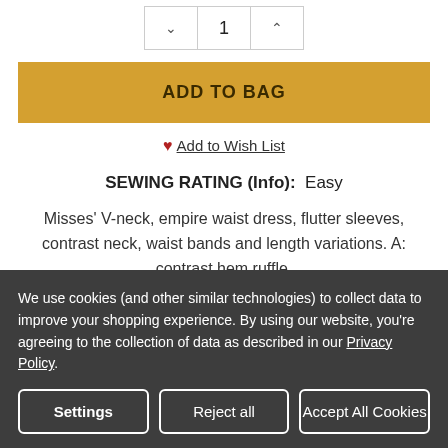| ∨ | 1 | ∧ |
ADD TO BAG
♥ Add to Wish List
SEWING RATING (Info):  Easy
Misses' V-neck, empire waist dress, flutter sleeves, contrast neck, waist bands and length variations. A: contrast hem ruffle.
We use cookies (and other similar technologies) to collect data to improve your shopping experience. By using our website, you're agreeing to the collection of data as described in our Privacy Policy.
Settings
Reject all
Accept All Cookies